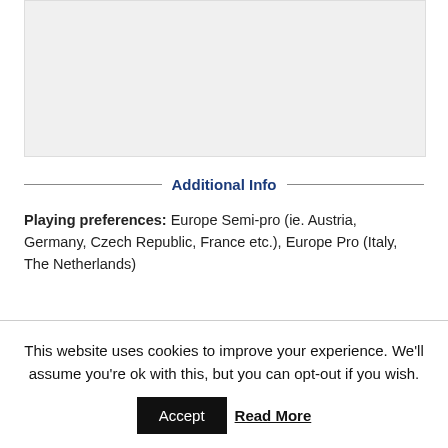[Figure (other): Gray placeholder image area at top of page]
Additional Info
Playing preferences: Europe Semi-pro (ie. Austria, Germany, Czech Republic, France etc.), Europe Pro (Italy, The Netherlands)
This website uses cookies to improve your experience. We'll assume you're ok with this, but you can opt-out if you wish.